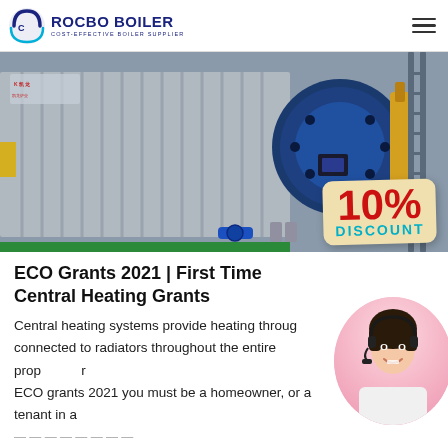ROCBO BOILER — COST-EFFECTIVE BOILER SUPPLIER
[Figure (photo): Industrial boiler equipment with blue cylindrical burner/fan assembly and corrugated metal casing, with a 10% DISCOUNT badge overlay in bottom-right corner.]
ECO Grants 2021 | First Time Central Heating Grants
Central heating systems provide heating through connected to radiators throughout the entire property. ECO grants 2021 you must be a homeowner, or a tenant in a